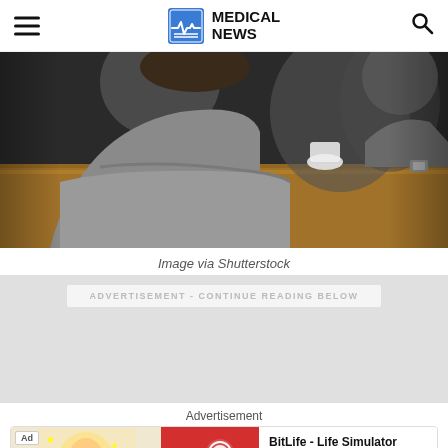MEDICAL NEWS
[Figure (photo): People sitting at a wooden table in a cafe setting, woman in grey sweater with arms resting on table, cups visible in background]
Image via Shutterstock
ADVERTISEMENT - CONTINUE READING BELOW
Advertisement
[Figure (screenshot): Advertisement banner for BitLife - Life Simulator app with Ad badge, cartoon character on left, red BitLife logo panel, and Install button]